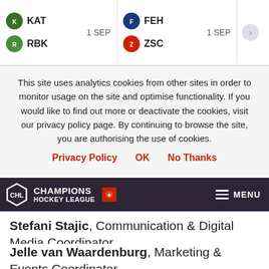| KAT | 1 SEP | FEH | 1 SEP | > |
| RBK |  | ZSC |  |  |
This site uses analytics cookies from other sites in order to monitor usage on the site and optimise functionality. If you would like to find out more or deactivate the cookies, visit our privacy policy page. By continuing to browse the site, you are authorising the use of cookies.
Privacy Policy
OK
No Thanks
[Figure (logo): Champions Hockey League logo with CHL hexagon emblem and red badge, MENU button on right]
Stefani Stajic, Communication & Digital Media Coordinator
Jelle van Waardenburg, Marketing & Events Coordinator